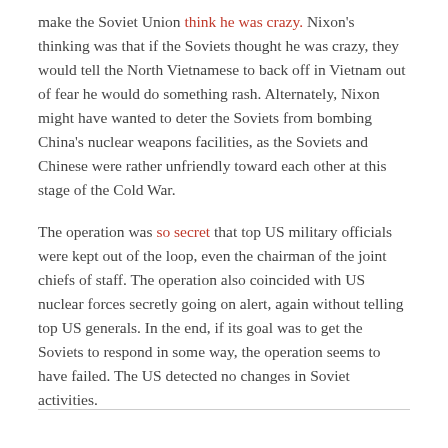make the Soviet Union think he was crazy. Nixon's thinking was that if the Soviets thought he was crazy, they would tell the North Vietnamese to back off in Vietnam out of fear he would do something rash. Alternately, Nixon might have wanted to deter the Soviets from bombing China's nuclear weapons facilities, as the Soviets and Chinese were rather unfriendly toward each other at this stage of the Cold War.
The operation was so secret that top US military officials were kept out of the loop, even the chairman of the joint chiefs of staff. The operation also coincided with US nuclear forces secretly going on alert, again without telling top US generals. In the end, if its goal was to get the Soviets to respond in some way, the operation seems to have failed. The US detected no changes in Soviet activities.